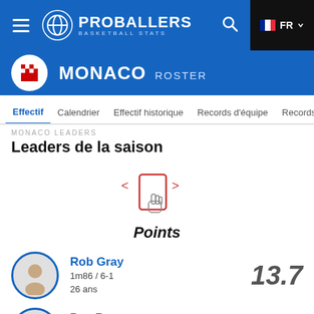PROBALLERS BASKETBALL STATS
MONACO ROSTER
Effectif  Calendrier  Effectif historique  Records d'équipe  Records indivi...
MONACO LEADERS
Leaders de la saison
[Figure (illustration): Swipe gesture hint with left/right arrows and a hand cursor pointing at a card]
Points
Rob Gray
1m86 / 6-1
26 ans
13.7
Dee Bost
1m89 / 6-2
31 ans
11.3